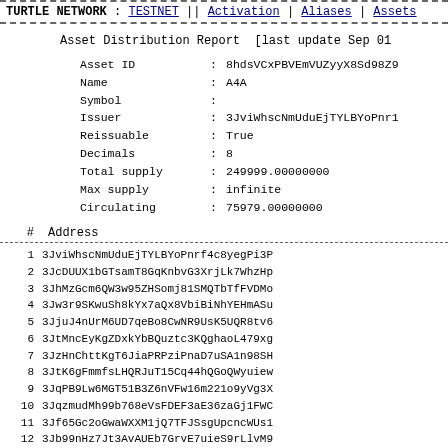TURTLE NETWORK : TESTNET || Activation | Aliases | Assets
Asset Distribution Report  [last update Sep 01
Asset ID        : 8hdsVCxPBVEmVUZyyX8Sd98Z9
Name            : A4A
Symbol          :
Issuer          : 3JviWhscNmUduEjTYLBYoPnr1
Reissuable      : True
Decimals        : 8
Total supply    : 249999.00000000
Max supply      : infinite
Circulating     : 75979.00000000
#    Address
1  3JviWhscNmUduEjTYLBYoPnrf4c8yegPi3P
2  3JcDUUX1bGTsamT8GqKnbvG3XrjLk7WhzHp
3  3JhMzGcm6QW3w95ZHSomj81SMQTbTfFVDMo
4  3Jw3r9SKwuSh8kYx7aQx8VbiBiNhYEHmASu
5  3JjuJ4nUrM6UD7qeBo8CwNR9UsK5UQR8tv6
6  3JtMncEyKgZDxkYbBQuztc3KQghaoL479xg
7  3JzHnChttKgT6JiaPRPziPnaD7uSA1n98SH
8  3JtK6gFmmfsLHQRJuT15Cq44hQGoQWyuiew
9  3JqPB9Lw6MGT51B3Z6nVFw16m221o9yVg3X
10  3JqzmudMh99b768eVsFDEF3aE36zaGj1FWC
11  3Jf65Gc2oGwaWXXM1jQ7TFJSsgUpcncWUs1
12  3Jb99nHz7Jt3AvAUEb7GrvE7uieS9rLlvM9